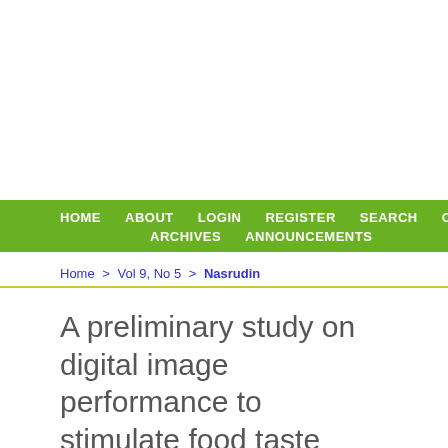HOME   ABOUT   LOGIN   REGISTER   SEARCH   CU...   ARCHIVES   ANNOUNCEMENTS
Home > Vol 9, No 5 > Nasrudin
A preliminary study on digital image performance to stimulate food taste experience
Nur Hasni Nasrudin, Afdallyna Fathiyah Harun